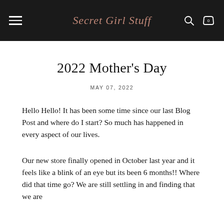Secret Girl Stuff
2022 Mother's Day
MAY 07, 2022
Hello Hello! It has been some time since our last Blog Post and where do I start? So much has happened in every aspect of our lives.
Our new store finally opened in October last year and it feels like a blink of an eye but its been 6 months!! Where did that time go? We are still settling in and finding that we are